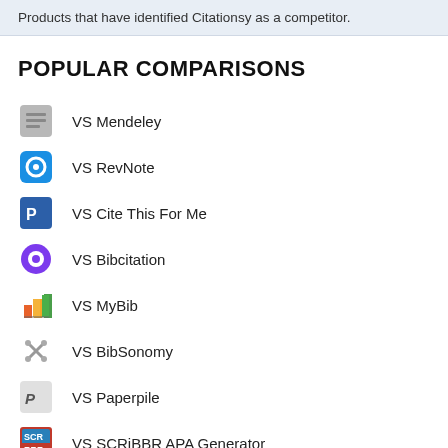Products that have identified Citationsy as a competitor.
POPULAR COMPARISONS
VS Mendeley
VS RevNote
VS Cite This For Me
VS Bibcitation
VS MyBib
VS BibSonomy
VS Paperpile
VS SCRiBBR APA Generator
VS Zotero
VS Citationsy BookScanner
VS Reference Manager